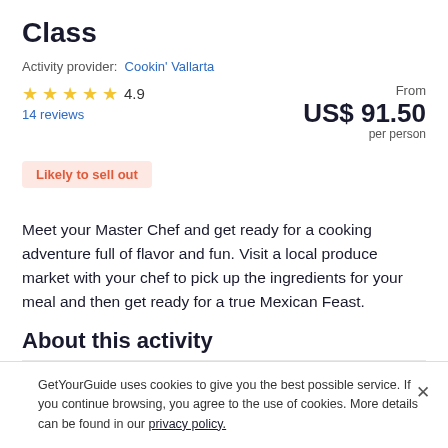Class
Activity provider: Cookin' Vallarta
★ ★ ★ ★ ★ 4.9
14 reviews
From US$ 91.50 per person
Likely to sell out
Meet your Master Chef and get ready for a cooking adventure full of flavor and fun. Visit a local produce market with your chef to pick up the ingredients for your meal and then get ready for a true Mexican Feast.
About this activity
GetYourGuide uses cookies to give you the best possible service. If you continue browsing, you agree to the use of cookies. More details can be found in our privacy policy.